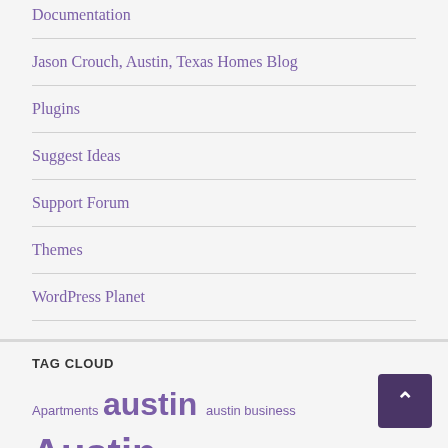Documentation
Jason Crouch, Austin, Texas Homes Blog
Plugins
Suggest Ideas
Support Forum
Themes
WordPress Planet
TAG CLOUD
Apartments austin austin business Austin Commercial Real Estate Austin Development Austin Economy austin industrial Austin Lease Rates Austin Leasing Austin Real